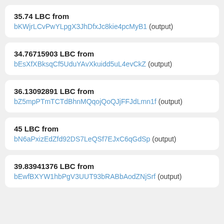35.74 LBC from bKWjrLCvPwYLpgX3JhDfxJc8kie4pcMyB1 (output)
34.76715903 LBC from bEsXfXBksqCf5UduYAvXkuidd5uL4evCkZ (output)
36.13092891 LBC from bZ5mpPTmTCTdBhnMQqojQoQJjFFJdLmn1f (output)
45 LBC from bN6aPxizEdZfd92DS7LeQSf7EJxC6qGdSp (output)
39.83941376 LBC from bEwfBXYW1hbPgV3UUT93bRABbAodZNjSrf (output)